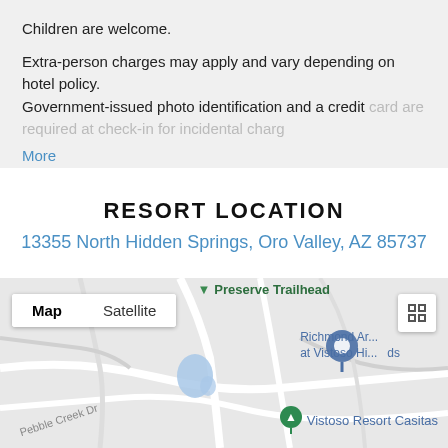Children are welcome.
Extra-person charges may apply and vary depending on hotel policy.
Government-issued photo identification and a credit card are required at check-in for incidental charges.
More
RESORT LOCATION
13355 North Hidden Springs, Oro Valley, AZ 85737
[Figure (map): Google Maps view showing the area around Vistoso Resort Casitas at 13355 North Hidden Springs, Oro Valley, AZ 85737. Map controls show Map/Satellite toggle. Visible labels include Preserve Trailhead, Richmond American Homes at Vistoso Highlands, Vistoso Resort Casitas, and Pebble Creek Dr.]